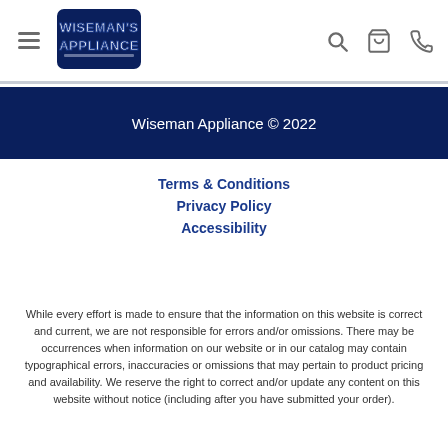[Figure (logo): Wiseman's Appliance logo — stylized text in blue and white with dark outline]
Wiseman Appliance © 2022
Terms & Conditions
Privacy Policy
Accessibility
While every effort is made to ensure that the information on this website is correct and current, we are not responsible for errors and/or omissions. There may be occurrences when information on our website or in our catalog may contain typographical errors, inaccuracies or omissions that may pertain to product pricing and availability. We reserve the right to correct and/or update any content on this website without notice (including after you have submitted your order).